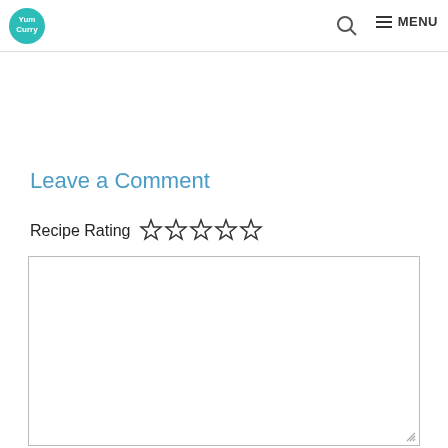Yum Curry — MENU
Leave a Comment
Recipe Rating ☆☆☆☆☆
[Figure (other): Empty comment text area input box with resize handle in bottom-right corner]